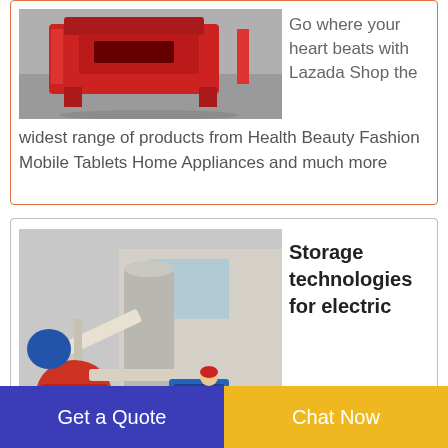[Figure (photo): Red industrial machine/equipment on a concrete floor, side view]
Go where your heart beats with Lazada Shop the widest range of products from Health Beauty Fashion Mobile Tablets Home Appliances and much more
[Figure (photo): Industrial facility with machinery, pipes, and a worker in red helmet operating a blue control panel]
Storage technologies for electric
vehiclesScienceDirect
Get a Quote
Chat Now